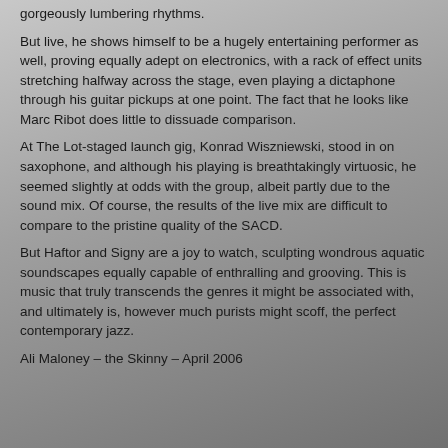gorgeously lumbering rhythms.
But live, he shows himself to be a hugely entertaining performer as well, proving equally adept on electronics, with a rack of effect units stretching halfway across the stage, even playing a dictaphone through his guitar pickups at one point. The fact that he looks like Marc Ribot does little to dissuade comparison.
At The Lot-staged launch gig, Konrad Wiszniewski, stood in on saxophone, and although his playing is breathtakingly virtuosic, he seemed slightly at odds with the group, albeit partly due to the sound mix. Of course, the results of the live mix are difficult to compare to the pristine quality of the SACD.
But Haftor and Signy are a joy to watch, sculpting wondrous aquatic soundscapes equally capable of enthralling and grooving. This is music that truly transcends the genres it might be associated with, and ultimately is, however much purists might scoff, the perfect contemporary jazz.
Ali Maloney – the Skinny – April 2006